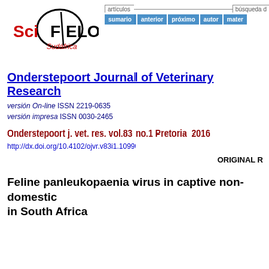[Figure (logo): SciELO Sudáfrica logo with black oval shape and red/black lettering]
artículos  búsqueda d  sumario  anterior  próximo  autor  mater
Onderstepoort Journal of Veterinary Research
versión On-line ISSN 2219-0635
versión impresa ISSN 0030-2465
Onderstepoort j. vet. res. vol.83 no.1 Pretoria  2016
http://dx.doi.org/10.4102/ojvr.v83i1.1099
ORIGINAL R
Feline panleukopaenia virus in captive non-domestic felids in South Africa